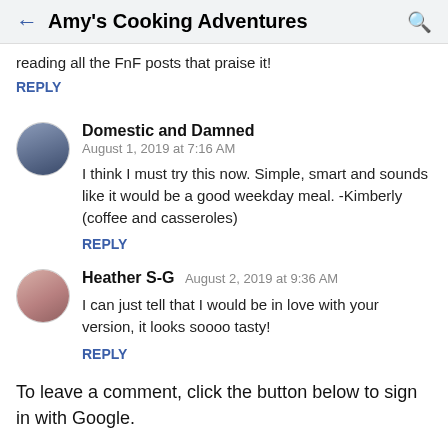Amy's Cooking Adventures
reading all the FnF posts that praise it!
REPLY
Domestic and Damned
August 1, 2019 at 7:16 AM
I think I must try this now. Simple, smart and sounds like it would be a good weekday meal. -Kimberly (coffee and casseroles)
REPLY
Heather S-G  August 2, 2019 at 9:36 AM
I can just tell that I would be in love with your version, it looks soooo tasty!
REPLY
To leave a comment, click the button below to sign in with Google.